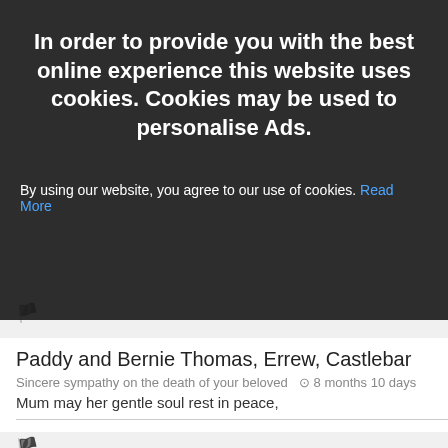In order to provide you with the best online experience this website uses cookies. Cookies may be used to personalise Ads.
By using our website, you agree to our use of cookies. Read More
I agree
Jim and Peggy Eg... ⊙ 8 months 10 days
Deepest sympathy to all the Prendergast family on your sad loss may she rest in peace
🏴
Paddy and Bernie Thomas, Errew, Castlebar
Sincere sympathy on the death of your beloved ⊙ 8 months 10 days
Mum may her gentle soul rest in peace,
🏴